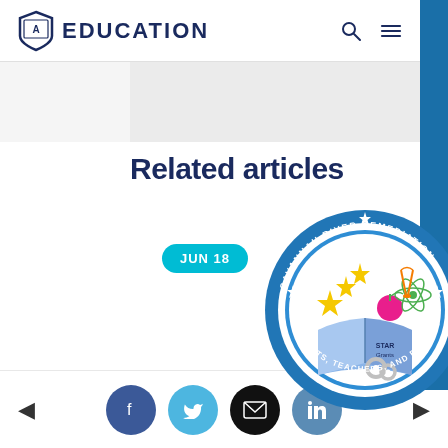EDUCATION
Related articles
JUN 18
[Figure (logo): Savannah River Remediation STAR Grants circular logo with stars, atom symbol, apple, book and gears]
Social share icons: Facebook, Twitter, Email, LinkedIn with navigation arrows